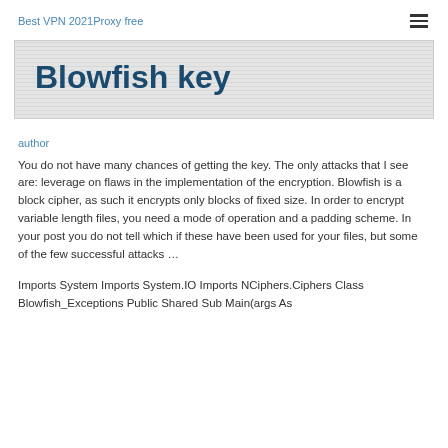Best VPN 2021Proxy free
Blowfish key
author
You do not have many chances of getting the key. The only attacks that I see are: leverage on flaws in the implementation of the encryption. Blowfish is a block cipher, as such it encrypts only blocks of fixed size. In order to encrypt variable length files, you need a mode of operation and a padding scheme. In your post you do not tell which if these have been used for your files, but some of the few successful attacks …
Imports System Imports System.IO Imports NCiphers.Ciphers Class Blowfish_Exceptions Public Shared Sub Main(args As